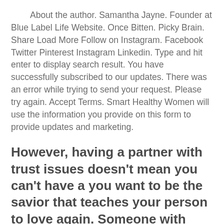About the author. Samantha Jayne. Founder at Blue Label Life Website. Once Bitten. Picky Brain. Share Load More Follow on Instagram. Facebook Twitter Pinterest Instagram Linkedin. Type and hit enter to display search result. You have successfully subscribed to our updates. There was an error while trying to send your request. Please try again. Accept Terms. Smart Healthy Women will use the information you provide on this form to provide updates and marketing.
However, having a partner with trust issues doesn't mean you can't have a you want to be the savior that teaches your person to love again. Someone with trust issues might not have a big, flashing horrible relationship to point at. While a partner with a habit of